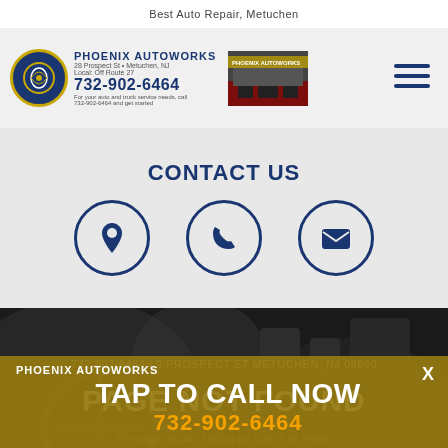Best Auto Repair, Metuchen
[Figure (logo): Phoenix Autoworks logo with circular emblem, business name, address, phone 732-902-6464, and store photo]
CONTACT US
[Figure (infographic): Three circular icons for contact: location pin, phone, and email/envelope]
732-902-6464 I 2 PROSPECT ST METUCHEN, NJ 08840
PAGE NOT FOUND
PHOENIX AUTOWORKS
TAP TO CALL NOW
732-902-6464
The page you are looking for cannot be found.